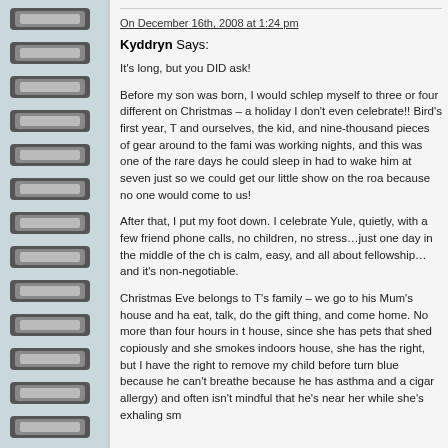On December 16th, 2008 at 1:24 pm
Kyddryn Says:
It's long, but you DID ask!
Before my son was born, I would schlep myself to three or four different on Christmas – a holiday I don't even celebrate!! Bird's first year, T and ourselves, the kid, and nine-thousand pieces of gear around to the fami was working nights, and this was one of the rare days he could sleep in had to wake him at seven just so we could get our little show on the roa because no one would come to us!
After that, I put my foot down. I celebrate Yule, quietly, with a few friend phone calls, no children, no stress…just one day in the middle of the ch is calm, easy, and all about fellowship…and it's non-negotiable.
Christmas Eve belongs to T's family – we go to his Mum's house and ha eat, talk, do the gift thing, and come home. No more than four hours in t house, since she has pets that shed copiously and she smokes indoors house, she has the right, but I have the right to remove my child before turn blue because he can't breathe because he has asthma and a cigar allergy) and often isn't mindful that he's near her while she's exhaling sm